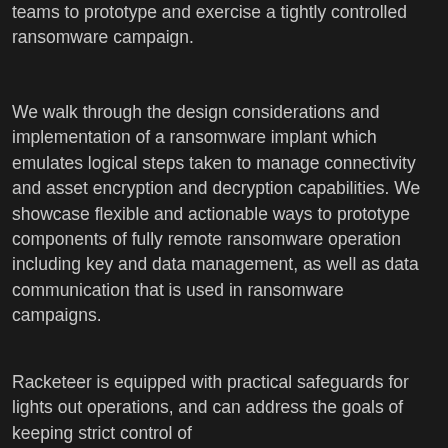teams to prototype and exercise a tightly controlled ransomware campaign.
We walk through the design considerations and implementation of a ransomware implant which emulates logical steps taken to manage connectivity and asset encryption and decryption capabilities. We showcase flexible and actionable ways to prototype components of fully remote ransomware operation including key and data management, as well as data communication that is used in ransomware campaigns.
Racketeer is equipped with practical safeguards for lights out operations, and can address the goals of keeping strict control of